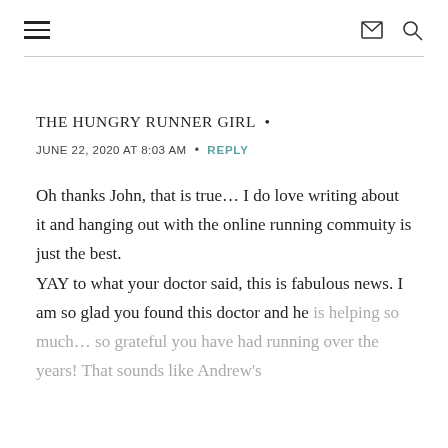Navigation header with hamburger menu, envelope icon, and search icon
THE HUNGRY RUNNER GIRL  •
JUNE 22, 2020 AT 8:03 AM  •  REPLY
Oh thanks John, that is true… I do love writing about it and hanging out with the online running commuity is just the best.
YAY to what your doctor said, this is fabulous news. I am so glad you found this doctor and he is helping so much… so grateful you have had running over the years! That sounds like Andrew's